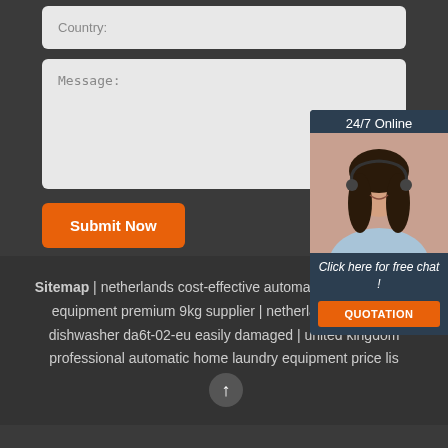Country:
Message:
Submit Now
[Figure (illustration): 24/7 Online chat widget with a woman wearing a headset, and a 'Click here for free chat!' message with a QUOTATION button]
Sitemap | netherlands cost-effective automatic home laundry equipment premium 9kg supplier | netherlands compact dishwasher da6t-02-eu easily damaged | united kingdom professional automatic home laundry equipment price list